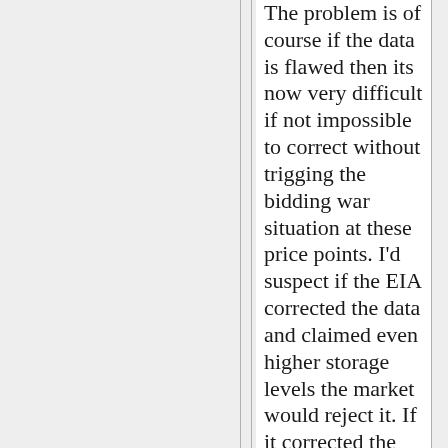The problem is of course if the data is flawed then its now very difficult if not impossible to correct without trigging the bidding war situation at these price points. I'd suspect if the EIA corrected the data and claimed even higher storage levels the market would reject it. If it corrected the data down somewhat the correction may well not be believed and the market could well punish if you will the system for lying.